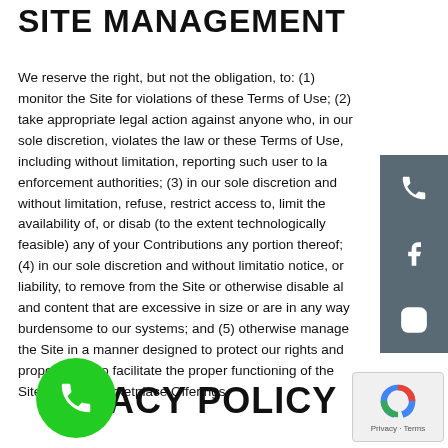SITE MANAGEMENT
We reserve the right, but not the obligation, to: (1) monitor the Site for violations of these Terms of Use; (2) take appropriate legal action against anyone who, in our sole discretion, violates the law or these Terms of Use, including without limitation, reporting such user to law enforcement authorities; (3) in our sole discretion and without limitation, refuse, restrict access to, limit the availability of, or disable (to the extent technologically feasible) any of your Contributions or any portion thereof; (4) in our sole discretion and without limitation, notice, or liability, to remove from the Site or otherwise disable all and content that are excessive in size or are in any way burdensome to our systems; and (5) otherwise manage the Site in a manner designed to protect our rights and property and to facilitate the proper functioning of the Site and the Marketplace Offerings.
PRIVACY POLICY